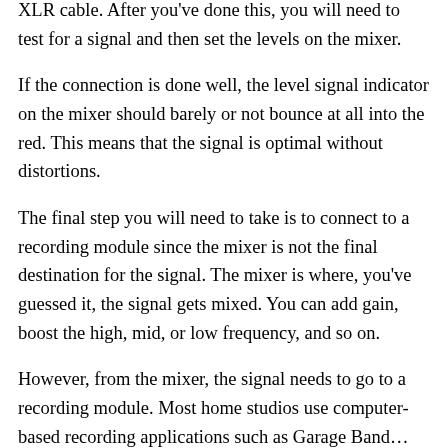XLR cable. After you've done this, you will need to test for a signal and then set the levels on the mixer.
If the connection is done well, the level signal indicator on the mixer should barely or not bounce at all into the red. This means that the signal is optimal without distortions.
The final step you will need to take is to connect to a recording module since the mixer is not the final destination for the signal. The mixer is where, you've guessed it, the signal gets mixed. You can add gain, boost the high, mid, or low frequency, and so on.
However, from the mixer, the signal needs to go to a recording module. Most home studios use computer-based recording applications such as Garage Band...